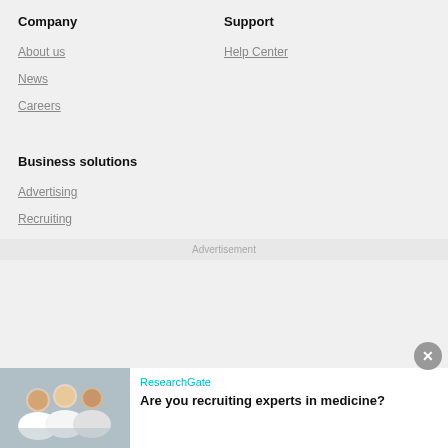Company
Support
About us
Help Center
News
Careers
Business solutions
Advertising
Recruiting
Advertisement
ResearchGate
Are you recruiting experts in medicine?